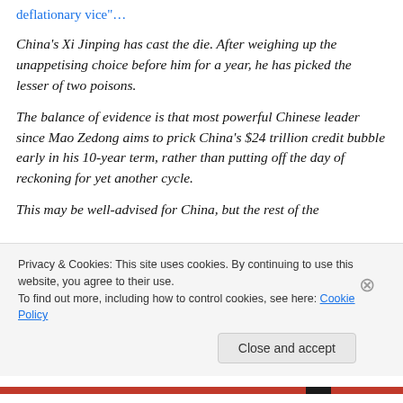deflationary vice"…
China's Xi Jinping has cast the die. After weighing up the unappetising choice before him for a year, he has picked the lesser of two poisons.
The balance of evidence is that most powerful Chinese leader since Mao Zedong aims to prick China's $24 trillion credit bubble early in his 10-year term, rather than putting off the day of reckoning for yet another cycle.
This may be well-advised for China, but the rest of the
Privacy & Cookies: This site uses cookies. By continuing to use this website, you agree to their use.
To find out more, including how to control cookies, see here: Cookie Policy